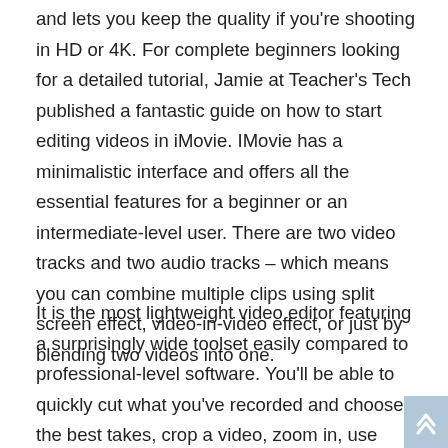and lets you keep the quality if you're shooting in HD or 4K. For complete beginners looking for a detailed tutorial, Jamie at Teacher's Tech published a fantastic guide on how to start editing videos in iMovie. IMovie has a minimalistic interface and offers all the essential features for a beginner or an intermediate-level user. There are two video tracks and two audio tracks – which means you can combine multiple clips using split screen effect, video-in-video effect, or just by blending two videos into one.
It is the most lightweight video editor featuring a surprisingly wide toolset easily compared to professional-level software. You'll be able to quickly cut what you've recorded and choose the best takes, crop a video, zoom in, use beautiful transitions, and apply color correction. The last software on our list is Lightworks, and that's not for the lack of features but for the lack of export options. The